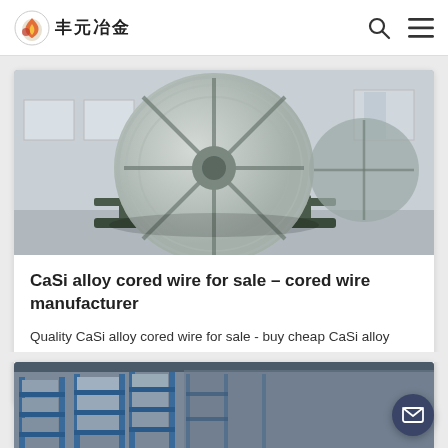丰元冶金 — company website header with search and menu icons
[Figure (photo): Large industrial spool/reel of cored wire on a metal stand in a factory warehouse, wrapped in metal strapping.]
CaSi alloy cored wire for sale – cored wire manufacturer
Quality CaSi alloy cored wire for sale - buy cheap CaSi alloy cored wire from cored wire manufacturers cored wire supplier of China (101059331).
[Figure (photo): Partial view of a warehouse interior with shelving and stored products, partially visible at bottom of page.]